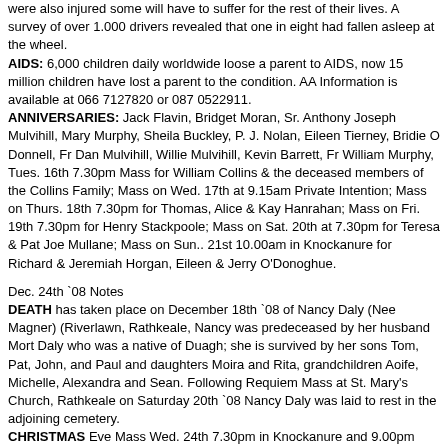were also injured some will have to suffer for the rest of their lives. A survey of over 1.000 drivers revealed that one in eight had fallen asleep at the wheel.
AIDS: 6,000 children daily worldwide loose a parent to AIDS, now 15 million children have lost a parent to the condition. AA Information is available at 066 7127820 or 087 0522911.
ANNIVERSARIES: Jack Flavin, Bridget Moran, Sr. Anthony Joseph Mulvihill, Mary Murphy, Sheila Buckley, P. J. Nolan, Eileen Tierney, Bridie O Donnell, Fr Dan Mulvihill, Willie Mulvihill, Kevin Barrett, Fr William Murphy, Tues. 16th 7.30pm Mass for William Collins & the deceased members of the Collins Family; Mass on Wed. 17th at 9.15am Private Intention; Mass on Thurs. 18th 7.30pm for Thomas, Alice & Kay Hanrahan; Mass on Fri. 19th 7.30pm for Henry Stackpoole; Mass on Sat. 20th at 7.30pm for Teresa & Pat Joe Mullane; Mass on Sun.. 21st 10.00am in Knockanure for Richard & Jeremiah Horgan, Eileen & Jerry O'Donoghue.
Dec. 24th `08 Notes
DEATH has taken place on December 18th `08 of Nancy Daly (Nee Magner) (Riverlawn, Rathkeale, Nancy was predeceased by her husband Mort Daly who was a native of Duagh; she is survived by her sons Tom, Pat, John, and Paul and daughters Moira and Rita, grandchildren Aoife, Michelle, Alexandra and Sean. Following Requiem Mass at St. Mary's Church, Rathkeale on Saturday 20th `08 Nancy Daly was laid to rest in the adjoining cemetery.
CHRISTMAS Eve Mass Wed. 24th 7.30pm in Knockanure and 9.00pm Moyvane; Christmas Day Mass Thursday 25th Knockanure 10am and Moyvane 11am; Mass on St Stephen's Day at 7.30pm for Con Flaherty; Saturday 27th Mass in Moyvane at 7.30pm for Johnny Quinn; Sunday 28th Mass at 10am in Knockanure for Michael, Joseph and Margaret Collins and the 11am Mass in Moyvane is for Maureen McSkane.
ANNIVERSARIES: Michael Collins, Jer Horgan, Nora Mai Broderick, Paddy Healy, John